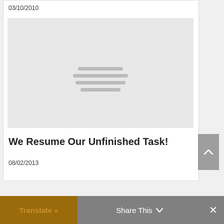03/10/2010
[Figure (illustration): Gray placeholder image with three horizontal lines in the center]
We Resume Our Unfinished Task!
08/02/2013
Translate »   Share This   ✕